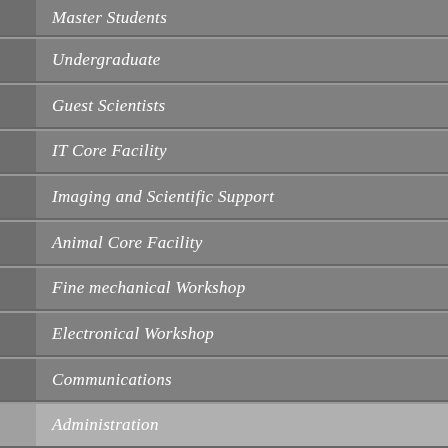Master Students
Undergraduate
Guest Scientists
IT Core Facility
Imaging and Scientific Support
Animal Core Facility
Fine mechanical Workshop
Electronical Workshop
Communications
Administration